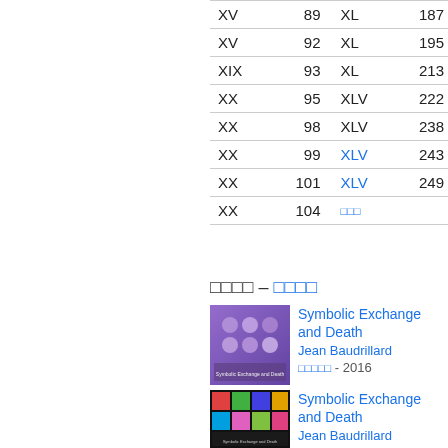| XV | 89 | XL | 187 |
| XV | 92 | XL | 195 |
| XIX | 93 | XL | 213 |
| XX | 95 | XLV | 222 |
| XX | 98 | XLV | 238 |
| XX | 99 | XLV | 243 |
| XX | 101 | XLV | 249 |
| XX | 104 | □□□ |  |
□□□□ – □□□□
[Figure (illustration): Book cover of Symbolic Exchange and Death by Jean Baudrillard, showing colorful skull designs on a purple/dark background]
Symbolic Exchange and Death Jean Baudrillard □□□□□ - 2016
[Figure (illustration): Book cover of Symbolic Exchange and Death by Jean Baudrillard, showing colorful pop-art style grid images on dark background]
Symbolic Exchange and Death Jean Baudrillard